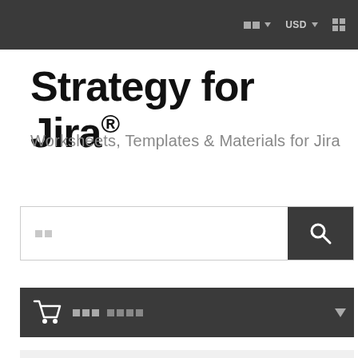Navigation bar with language selector, USD currency selector, and grid icon
Strategy for Jira®
Worksheets, Templates & Materials for Jira
[Figure (screenshot): Search input field with placeholder squares and a dark search button with magnifier icon]
[Figure (screenshot): Dark cart bar with shopping cart icon, placeholder text squares, and dropdown arrow]
[Figure (screenshot): Light grey panel with placeholder text squares and a plus icon on the right]